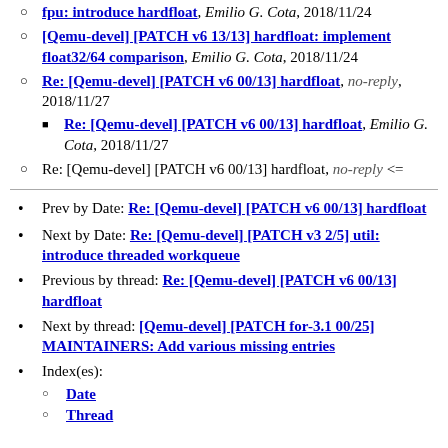[Qemu-devel] [PATCH v6 13/13] hardfloat: fpu: introduce hardfloat, Emilio G. Cota, 2018/11/24
[Qemu-devel] [PATCH v6 13/13] hardfloat: implement float32/64 comparison, Emilio G. Cota, 2018/11/24
Re: [Qemu-devel] [PATCH v6 00/13] hardfloat, no-reply, 2018/11/27
Re: [Qemu-devel] [PATCH v6 00/13] hardfloat, Emilio G. Cota, 2018/11/27
Re: [Qemu-devel] [PATCH v6 00/13] hardfloat, no-reply <=
Prev by Date: Re: [Qemu-devel] [PATCH v6 00/13] hardfloat
Next by Date: Re: [Qemu-devel] [PATCH v3 2/5] util: introduce threaded workqueue
Previous by thread: Re: [Qemu-devel] [PATCH v6 00/13] hardfloat
Next by thread: [Qemu-devel] [PATCH for-3.1 00/25] MAINTAINERS: Add various missing entries
Index(es):
Date
Thread